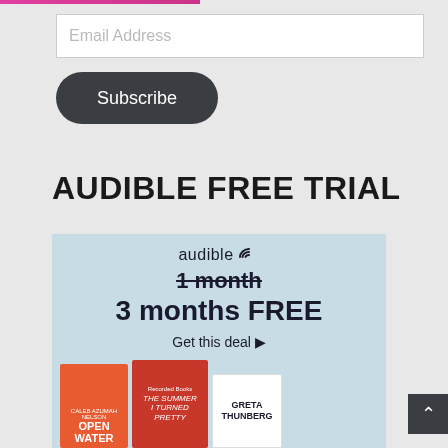[Figure (screenshot): Email address input field with placeholder text]
[Figure (screenshot): Subscribe button with dark rounded rectangle style]
AUDIBLE FREE TRIAL
[Figure (infographic): Audible advertisement banner showing 1 month crossed out and 3 months FREE deal with book covers including Open Water, The Summer I Turned Pretty, and Greta Thunberg]